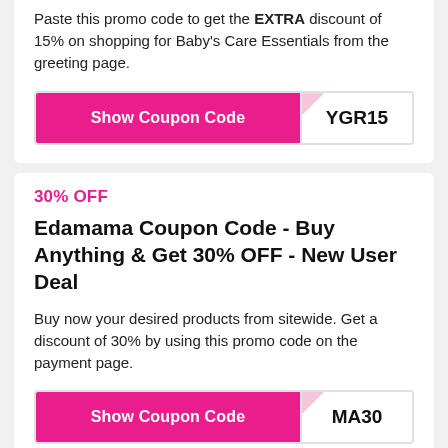Paste this promo code to get the EXTRA discount of 15% on shopping for Baby's Care Essentials from the greeting page.
[Figure (other): Show Coupon Code button (pink/magenta) with coupon code YGR15 revealed on the right side]
30% OFF
Edamama Coupon Code - Buy Anything & Get 30% OFF - New User Deal
Buy now your desired products from sitewide. Get a discount of 30% by using this promo code on the payment page.
[Figure (other): Show Coupon Code button (pink/magenta) with coupon code MA30 partially revealed on the right side]